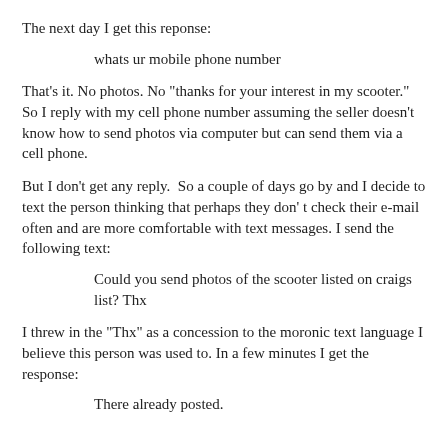The next day I get this reponse:
whats ur mobile phone number
That's it. No photos. No "thanks for your interest in my scooter." So I reply with my cell phone number assuming the seller doesn't know how to send photos via computer but can send them via a cell phone.
But I don't get any reply.  So a couple of days go by and I decide to text the person thinking that perhaps they don' t check their e-mail often and are more comfortable with text messages. I send the following text:
Could you send photos of the scooter listed on craigs list? Thx
I threw in the "Thx" as a concession to the moronic text language I believe this person was used to. In a few minutes I get the response:
There already posted.